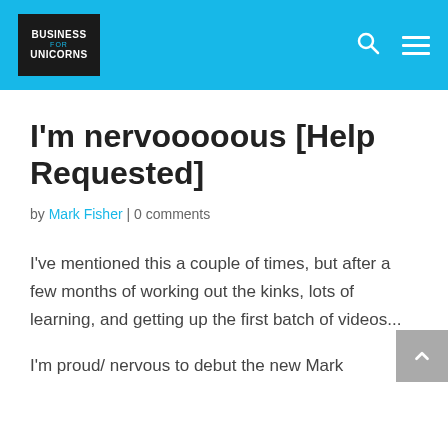Business for Unicorns
I'm nervooooous [Help Requested]
by Mark Fisher | 0 comments
I've mentioned this a couple of times, but after a few months of working out the kinks, lots of learning, and getting up the first batch of videos...
I'm proud/ nervous to debut the new Mark